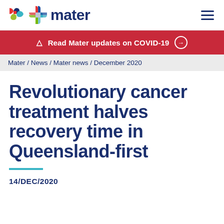[Figure (logo): Mater logo with colorful plus sign and dark blue 'mater' text]
Read Mater updates on COVID-19
Mater / News / Mater news / December 2020
Revolutionary cancer treatment halves recovery time in Queensland-first
14/DEC/2020